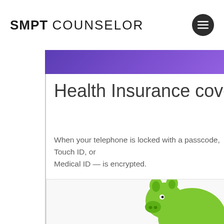SMPT COUNSELOR
Health Insurance coverag
When your telephone is locked with a passcode, Touch ID, or Medical ID — is encrypted.
[Figure (photo): Partial image of a green piggy bank figure against a white/light background, cropped at the bottom right of the page]